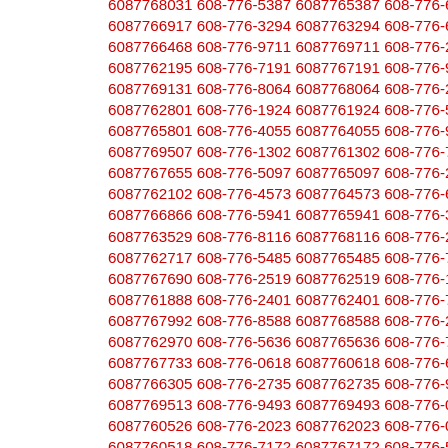6087768031 608-776-5387 6087765387 608-776-6917 6087766917 608-776-3294 6087763294 608-776-6468 6087766468 608-776-9711 6087769711 608-776-2195 6087762195 608-776-7191 6087767191 608-776-9131 6087769131 608-776-8064 6087768064 608-776-2801 6087762801 608-776-1924 6087761924 608-776-5801 6087765801 608-776-4055 6087764055 608-776-9507 6087769507 608-776-1302 6087761302 608-776-7655 6087767655 608-776-5097 6087765097 608-776-2102 6087762102 608-776-4573 6087764573 608-776-6866 6087766866 608-776-5941 6087765941 608-776-3529 6087763529 608-776-8116 6087768116 608-776-2717 6087762717 608-776-5485 6087765485 608-776-7690 6087767690 608-776-2519 6087762519 608-776-1888 6087761888 608-776-2401 6087762401 608-776-7992 6087767992 608-776-8588 6087768588 608-776-2970 6087762970 608-776-5636 6087765636 608-776-7733 6087767733 608-776-0618 6087760618 608-776-6305 6087766305 608-776-2735 6087762735 608-776-9513 6087769513 608-776-9493 6087769493 608-776-0526 6087760526 608-776-2023 6087762023 608-776-0518 6087760518 608-776-7172 6087767172 608-776-5683 6087765683 608-776-0036 6087760036 608-776-7826 6087767826 608-776-8720 6087768720 608-776-9241 6087769241 608-776-5279 6087765279 608-776-1011